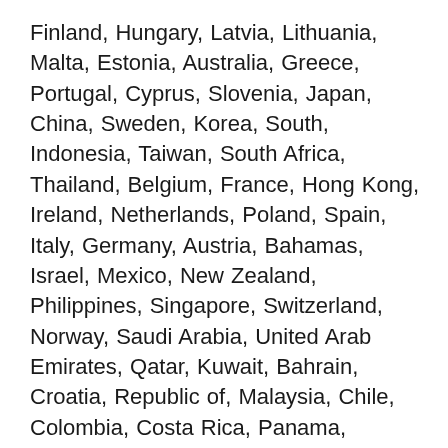Finland, Hungary, Latvia, Lithuania, Malta, Estonia, Australia, Greece, Portugal, Cyprus, Slovenia, Japan, China, Sweden, Korea, South, Indonesia, Taiwan, South Africa, Thailand, Belgium, France, Hong Kong, Ireland, Netherlands, Poland, Spain, Italy, Germany, Austria, Bahamas, Israel, Mexico, New Zealand, Philippines, Singapore, Switzerland, Norway, Saudi Arabia, United Arab Emirates, Qatar, Kuwait, Bahrain, Croatia, Republic of, Malaysia, Chile, Colombia, Costa Rica, Panama, Trinidad and Tobago, Guatemala, Honduras, Jamaica, Antigua and Barbuda, Aruba, Belize, Dominica, Grenada, Saint Kitts-Nevis, Saint Lucia, Montserrat, Turks and Caicos Islands, Barbados, Bangladesh, Bermuda, Brunei Darussalam, Bolivia, Egypt, French Guiana, Guernsey, Gibraltar, Guadeloupe, Iceland, Jersey, Jordan, Cambodia, Cayman Islands, Liechtenstein, Sri Lanka, Luxembourg, Monaco, Macau, Martinique, Maldives, Nicaragua, Oman, Pakistan, Paraguay, Reunion, Uruguay